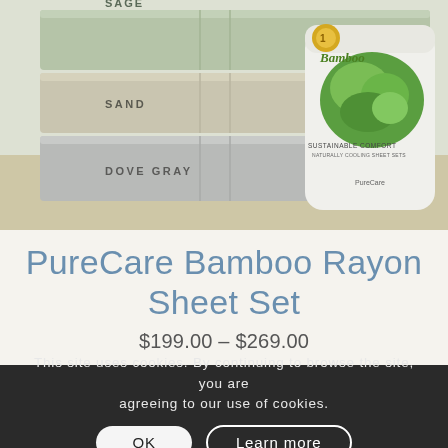[Figure (photo): Product photo showing stacked bamboo rayon sheet sets in sage/green, sand/beige, and dove gray colors, alongside a cylindrical bamboo product canister labeled 'Bamboo - Sustainable Comfort']
PureCare Bamboo Rayon Sheet Set
$199.00 – $269.00
This site uses cookies. By continuing to browse the site, you are agreeing to our use of cookies.
OK
Learn more